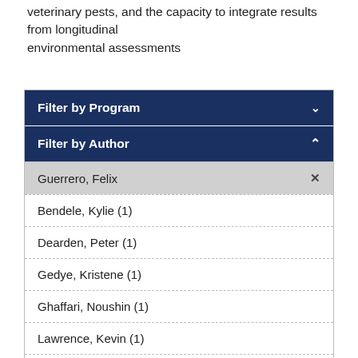veterinary pests, and the capacity to integrate results from longitudinal environmental assessments
Filter by Program
Filter by Author
Guerrero, Felix ×
Bendele, Kylie (1)
Dearden, Peter (1)
Gedye, Kristene (1)
Ghaffari, Noushin (1)
Lawrence, Kevin (1)
Tompkins, Daniel (1)